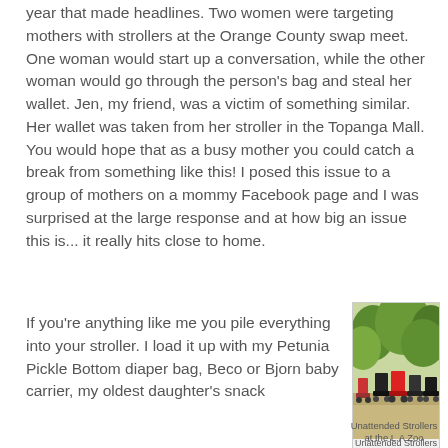year that made headlines. Two women were targeting mothers with strollers at the Orange County swap meet. One woman would start up a conversation, while the other woman would go through the person's bag and steal her wallet. Jen, my friend, was a victim of something similar. Her wallet was taken from her stroller in the Topanga Mall. You would hope that as a busy mother you could catch a break from something like this! I posed this issue to a group of mothers on a mommy Facebook page and I was surprised at the large response and at how big an issue this is... it really hits close to home.
If you're anything like me you pile everything into your stroller. I load it up with my Petunia Pickle Bottom diaper bag, Beco or Bjorn baby carrier, my oldest daughter's snack
[Figure (photo): Photo of multiple strollers parked unattended outdoors at the L.A Zoo, surrounded by trees and greenery]
Unattended Strollers at the L.A Zoo